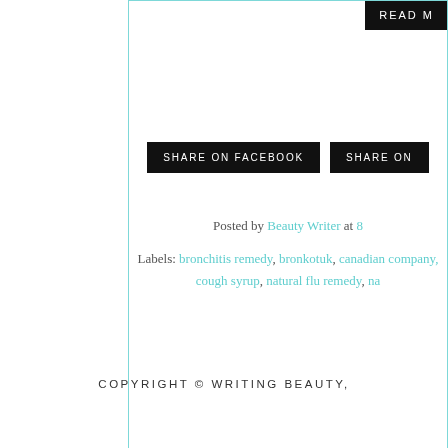READ M[ORE]
SHARE ON FACEBOOK
SHARE ON [...]
Posted by Beauty Writer at 8[...]
Labels: bronchitis remedy, bronkotuk, canadian company, cough syrup, natural flu remedy, na[...]
NEWER POSTS
HO[ME]
COPYRIGHT © WRITING BEAUTY,...